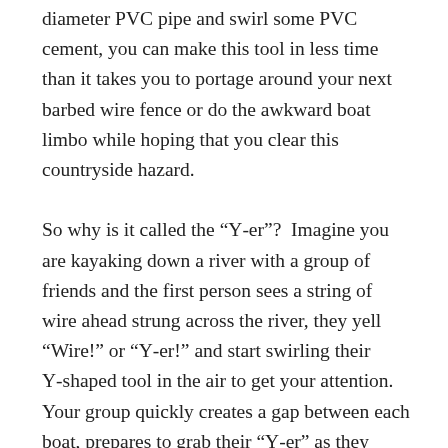diameter PVC pipe and swirl some PVC cement, you can make this tool in less time than it takes you to portage around your next barbed wire fence or do the awkward boat limbo while hoping that you clear this countryside hazard.
So why is it called the “Y-er”? Imagine you are kayaking down a river with a group of friends and the first person sees a string of wire ahead strung across the river, they yell “Wire!” or “Y-er!” and start swirling their Y-shaped tool in the air to get your attention. Your group quickly creates a gap between each boat, prepares to grab their “Y-er” as they approach the wire, and one-by-one uses their Y-er to lift the wire safety overhead.